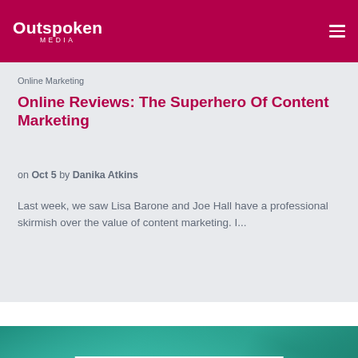Outspoken MEDIA
Online Marketing
Online Reviews: The Superhero Of Content Marketing
on Oct 5 by Danika Atkins
Last week, we saw Lisa Barone and Joe Hall have a professional skirmish over the value of content marketing. I...
[Figure (photo): Teal/green blurred background image with a white banner overlay reading SOCIAL MEDIA in teal bold text]